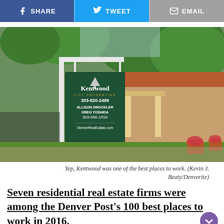[Figure (other): Social sharing buttons row: Facebook Share (blue), Tweet (light blue), Email (gray)]
[Figure (photo): Kentwood City Properties real estate sign in front of a brick house with green trees. Sign shows: Kentwood City Properties, 303-820-2489, Allison Smookler, Greg Yoshida, 303-956-1516, DenverRealEstate.com]
Yep, Kentwood was one of the best places to work. (Kevin J. Beaty/Denverite)
Seven residential real estate firms were among the Denver Post's 100 best places to work in 2016.